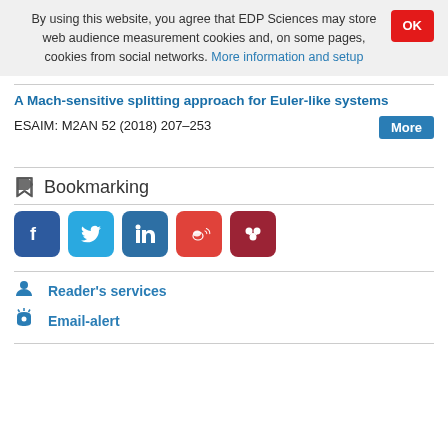By using this website, you agree that EDP Sciences may store web audience measurement cookies and, on some pages, cookies from social networks. More information and setup
A Mach-sensitive splitting approach for Euler-like systems
ESAIM: M2AN 52 (2018) 207–253
Bookmarking
[Figure (other): Social media sharing buttons: Facebook, Twitter, LinkedIn, Weibo, Mendeley]
Reader's services
Email-alert